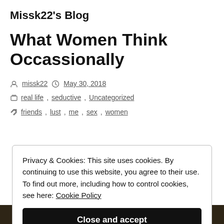Missk22's Blog
What Women Think Occassionally
missk22  May 30, 2018
real life, seductive, Uncategorized
friends, lust, me, sex, women
Privacy & Cookies: This site uses cookies. By continuing to use this website, you agree to their use. To find out more, including how to control cookies, see here: Cookie Policy
Close and accept
[Figure (photo): Dark photo strip visible at the bottom of the page]